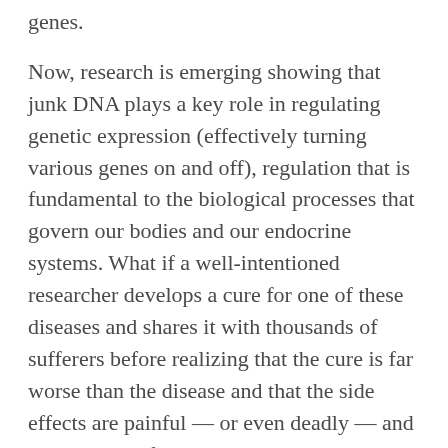genes.
Now, research is emerging showing that junk DNA plays a key role in regulating genetic expression (effectively turning various genes on and off), regulation that is fundamental to the biological processes that govern our bodies and our endocrine systems. What if a well-intentioned researcher develops a cure for one of these diseases and shares it with thousands of sufferers before realizing that the cure is far worse than the disease and that the side effects are painful — or even deadly — and easily spread from person to person?
Such a scenario could arise through good intent. But in the hands of evil biohackers, these powerful and simple tools are a cause for alarm. A smart biohacker could alter the influenza genome, for example, to make it more potent, setting off an epidemic that kills